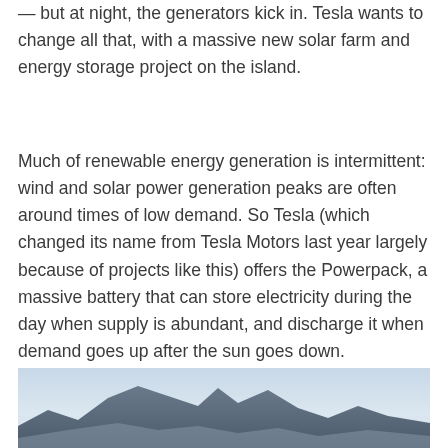— but at night, the generators kick in. Tesla wants to change all that, with a massive new solar farm and energy storage project on the island.
Much of renewable energy generation is intermittent: wind and solar power generation peaks are often around times of low demand. So Tesla (which changed its name from Tesla Motors last year largely because of projects like this) offers the Powerpack, a massive battery that can store electricity during the day when supply is abundant, and discharge it when demand goes up after the sun goes down.
[Figure (photo): A landscape photograph showing a mountain range silhouette under a pale, hazy sky.]